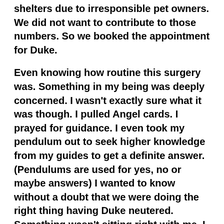shelters due to irresponsible pet owners. We did not want to contribute to those numbers. So we booked the appointment for Duke.
Even knowing how routine this surgery was. Something in my being was deeply concerned. I wasn’t exactly sure what it was though. I pulled Angel cards. I prayed for guidance. I even took my pendulum out to seek higher knowledge from my guides to get a definite answer. (Pendulums are used for yes, no or maybe answers) I wanted to know without a doubt that we were doing the right thing having Duke neutered. Something wasn’t sitting right with me. I was stumped as to what it could be. The guidance in the cards was confusing to say the least. There were many mixed messages coming through. Definitely no clarity like I would’ve hoped. My pendulum yielded a big swirling “maybe.” To me that just was not good enough. I wanted I clear concise “yes” or “no.” Finally through prayer I was able